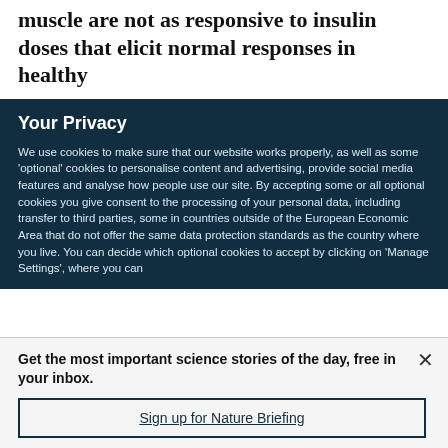A condition where cells of the liver, fat and muscle are not as responsive to insulin doses that elicit normal responses in healthy
Your Privacy
We use cookies to make sure that our website works properly, as well as some 'optional' cookies to personalise content and advertising, provide social media features and analyse how people use our site. By accepting some or all optional cookies you give consent to the processing of your personal data, including transfer to third parties, some in countries outside of the European Economic Area that do not offer the same data protection standards as the country where you live. You can decide which optional cookies to accept by clicking on 'Manage Settings', where you can
Get the most important science stories of the day, free in your inbox.
Sign up for Nature Briefing